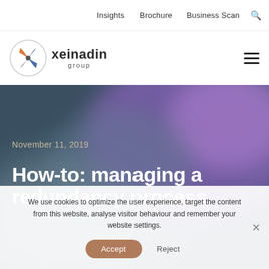Insights  Brochure  Business Scan
[Figure (logo): Xeinadin Group logo — circular icon with stylized X in blue, orange, and grey; text 'xeinadin group' in dark grey]
[Figure (photo): Hero background image: blurred purple and teal gradient bokeh photograph]
November 11, 2019
How-to: managing a redundancy process
We use cookies to optimize the user experience, target the content from this website, analyse visitor behaviour and remember your website settings.
Accept  Reject